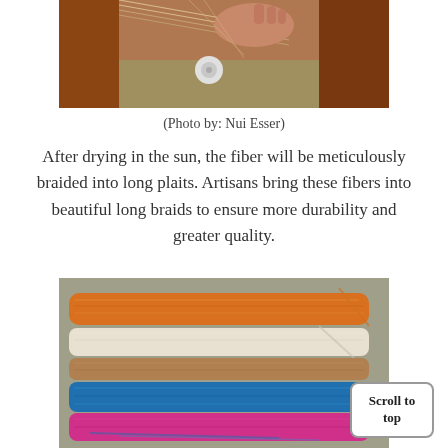[Figure (photo): Close-up of hands working with fiber on a loom or weaving frame, partial view from top]
(Photo by: Nui Esser)
After drying in the sun, the fiber will be meticulously braided into long plaits. Artisans bring these fibers into beautiful long braids to ensure more durability and greater quality.
[Figure (photo): Photo of multiple bundles of braided fibers/threads in various colors: orange, white/cream, brown, blue, and pink, laid out on a surface]